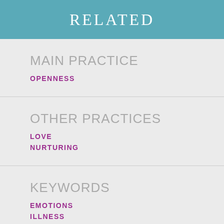RELATED
MAIN PRACTICE
OPENNESS
OTHER PRACTICES
LOVE
NURTURING
KEYWORDS
EMOTIONS
ILLNESS
RELATIONSHIPS